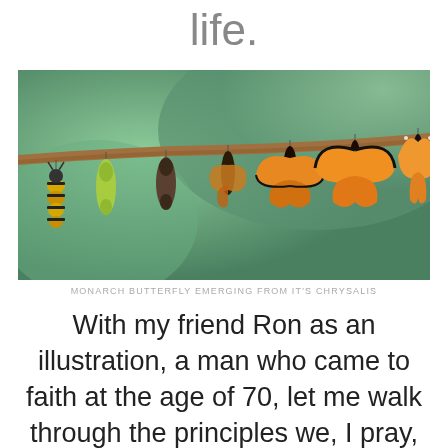life.
[Figure (photo): Monarch butterfly emerging from its chrysalis — sequential stages shown hanging from a branch, from caterpillar to fully emerged butterfly]
MONARCH BUTTERFLY EMERGING FROM IT'S CHRYSALIS
With my friend Ron as an illustration, a man who came to faith at the age of 70, let me walk through the principles we, I pray, will